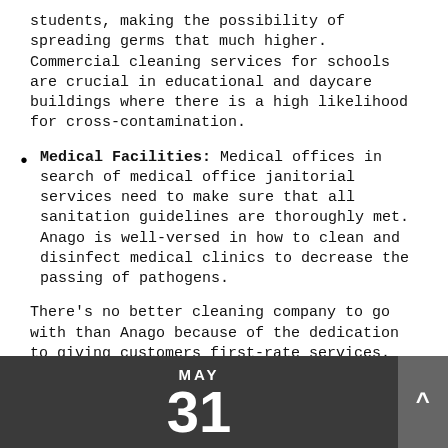students, making the possibility of spreading germs that much higher. Commercial cleaning services for schools are crucial in educational and daycare buildings where there is a high likelihood for cross-contamination.
Medical Facilities: Medical offices in search of medical office janitorial services need to make sure that all sanitation guidelines are thoroughly met. Anago is well-versed in how to clean and disinfect medical clinics to decrease the passing of pathogens.
There's no better cleaning company to go with than Anago because of the dedication to giving customers first-rate services.
dental office cleaning company pembroke pines fl
Cleaning Service
[Figure (other): Dark calendar widget showing MAY 31]